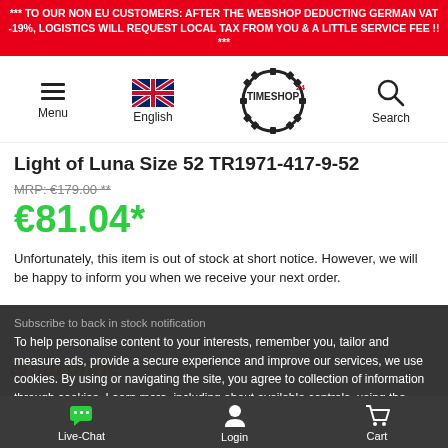*** TO OUR NON EU CUSTOMERS: AFTER THE WEBSHOP DEDUCTING GERMAN VAT -19%, LOGISTICS WILL REQUEST LOCAL TAX FROM YOU & A LITTLE SERVICE FEE !! ***
[Figure (screenshot): Navigation bar with hamburger menu, UK flag language selector, Timeshop24 logo, and search icon]
Light of Luna Size 52 TR1971-417-9-52
MRP: €179.00 **
€81.04*
Unfortunately, this item is out of stock at short notice. However, we will be happy to inform you when we receive your next order.
To help personalise content to your interests, remember you, tailor and measure ads, provide a secure experience and improve our services, we use cookies. By using or navigating the site, you agree to collection of information through cookies. Learn more, including about available controls, using the more information link . You can use these controls now or later. Or you can use cookie settings
ALLOW
Live-Chat  Login  Cart